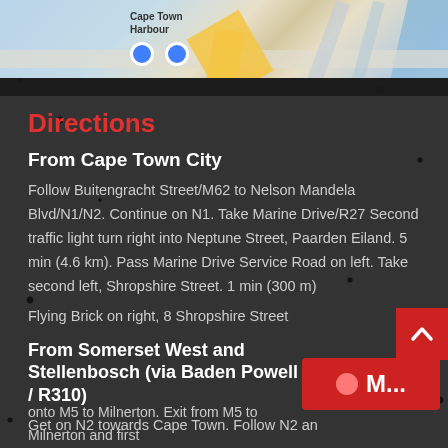[Figure (map): Google Maps screenshot showing Cape Town Harbour area with roads, yellow highway, blue water/river on right, and blue location pins at bottom]
Directions
From Cape Town City
Follow Buitengracht Street/M62 to Nelson Mandela Blvd/N1/N2. Continue on N1. Take Marine Drive/R27 Second traffic light turn right into Neptune Street, Paarden Eiland. 5 min (4.6 km). Pass Marine Drive Service Road on left. Take second left, Shropshire Street. 1 min (300 m)
Flying Brick on right, 8 Shropshire Street
From Somerset West and Stellenbosch (via Baden Powell Drive / R310)
Get on N2 towards Cape Town. Follow N2 and onto M5 to Milnerton. Exit from M5 to Milnerton and first